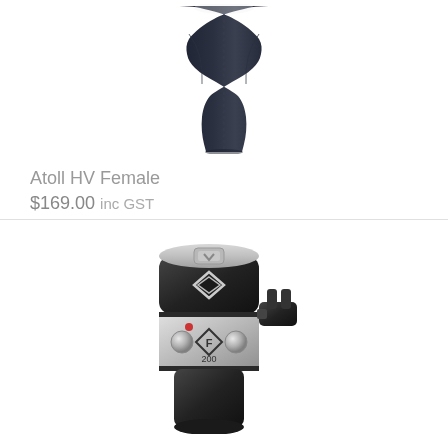[Figure (photo): Black wetsuit torso/body piece for female, shown from front, tapered hourglass shape, dark navy/black color]
Atoll HV Female
$169.00 inc GST
[Figure (photo): Silver and black diving regulator/first stage, cylindrical shape with diamond-shaped Black Diamond logo, F 200 label, knob/valve on right side]